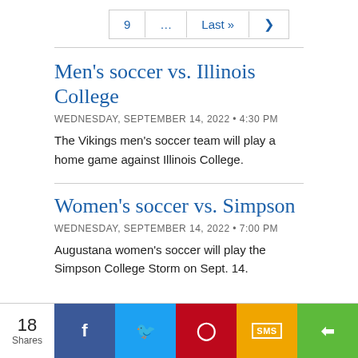9  ...  Last »  ›
Men's soccer vs. Illinois College
WEDNESDAY, SEPTEMBER 14, 2022 • 4:30 PM
The Vikings men's soccer team will play a home game against Illinois College.
Women's soccer vs. Simpson
WEDNESDAY, SEPTEMBER 14, 2022 • 7:00 PM
Augustana women's soccer will play the Simpson College Storm on Sept. 14.
18 Shares